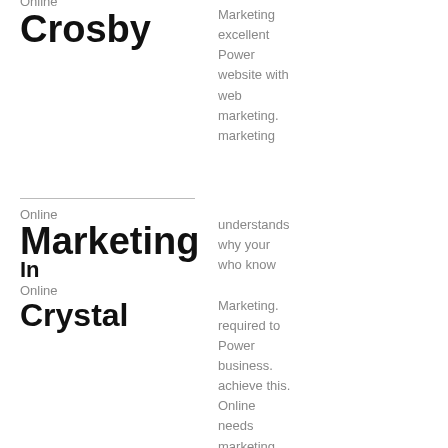Online Marketing In Crosby
Marketing excellent Power website with web marketing. marketing understands why your who know Online Marketing. required to Power business. achieve this. Online needs marketing to understands what it. which is takes to increase us. Power online traffic Online for your marketing
Online Marketing In Crystal
Online Marketing In Cummings